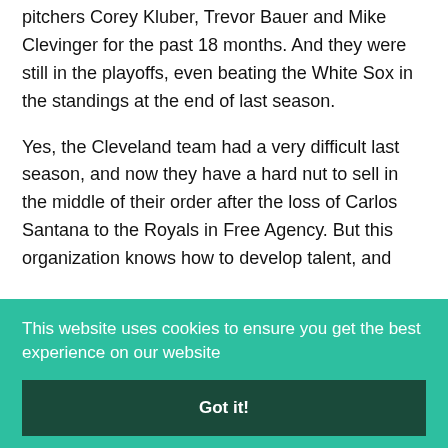pitchers Corey Kluber, Trevor Bauer and Mike Clevinger for the past 18 months. And they were still in the playoffs, even beating the White Sox in the standings at the end of last season.
Yes, the Cleveland team had a very difficult last season, and now they have a hard nut to sell in the middle of their order after the loss of Carlos Santana to the Royals in Free Agency. But this organization knows how to develop talent, and
This website uses cookies to ensure you get the best experience on our website
Got it!